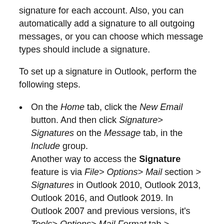signature for each account. Also, you can automatically add a signature to all outgoing messages, or you can choose which message types should include a signature.
To set up a signature in Outlook, perform the following steps.
On the Home tab, click the New Email button. And then click Signature> Signatures on the Message tab, in the Include group.
Another way to access the Signature feature is via File> Options> Mail section > Signatures in Outlook 2010, Outlook 2013, Outlook 2016, and Outlook 2019. In Outlook 2007 and previous versions, it's Tools> Options> Mail Format tab > Signatures.
Either way, the Signatures and Stationery dialog